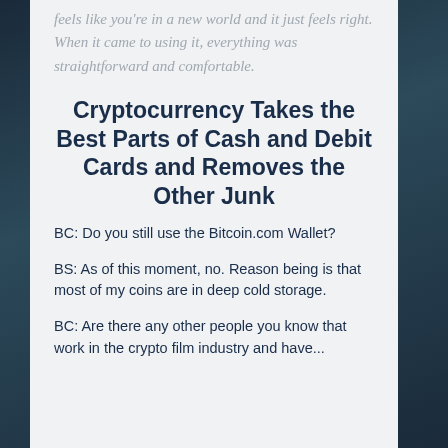feels like you're in a new world and it just feels right. When it came to using it, everything was straightforward and comfortable.
Cryptocurrency Takes the Best Parts of Cash and Debit Cards and Removes the Other Junk
BC: Do you still use the Bitcoin.com Wallet?
BS: As of this moment, no. Reason being is that most of my coins are in deep cold storage.
BC: Are there any other people you know that work in the crypto film industry and have...